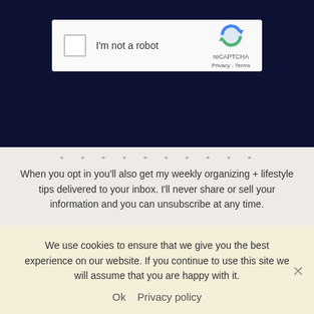[Figure (screenshot): reCAPTCHA widget showing a checkbox labeled 'I'm not a robot' with the Google reCAPTCHA logo, Privacy and Terms links, on a dark navy background]
* * * * * * * * * *
When you opt in you'll also get my weekly organizing + lifestyle tips delivered to your inbox. I'll never share or sell your information and you can unsubscribe at any time.
We use cookies to ensure that we give you the best experience on our website. If you continue to use this site we will assume that you are happy with it.
Ok   Privacy policy